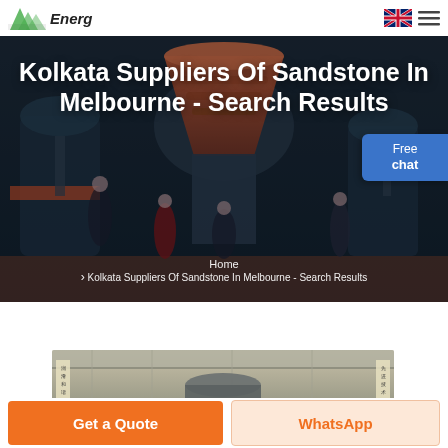Energ [logo] | navigation bar with flag and menu icons
[Figure (photo): Industrial machinery hall with large conical grinder/mill equipment, several female models posed around the machinery, dark moody lighting with orange/grey tones]
Kolkata Suppliers Of Sandstone In Melbourne - Search Results
Home > Kolkata Suppliers Of Sandstone In Melbourne - Search Results
[Figure (photo): Industrial facility interior showing large cylindrical machinery/mill equipment with Chinese characters visible on banners, warehouse setting]
Get a Quote
WhatsApp